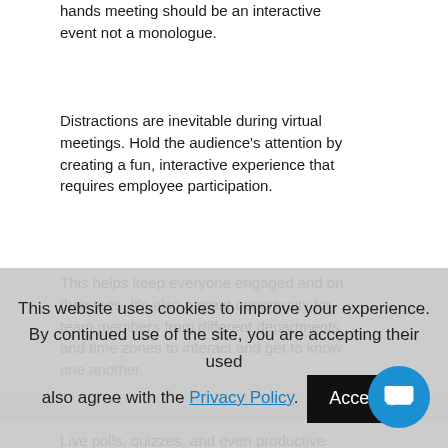hands meeting should be an interactive event not a monologue.
Distractions are inevitable during virtual meetings. Hold the audience's attention by creating a fun, interactive experience that requires employee participation.
This helps keep everyone engaged and on their toes. It's also a great opportunity for team members from different departments and time zones to interact and get to know one another.
Live polls, quizzes, and even productive games and team building activities are all great ways to get employees involved
This website uses cookies to improve your experience. By continued use of the site, you are accepting their use. also agree with the Privacy Policy. Accept